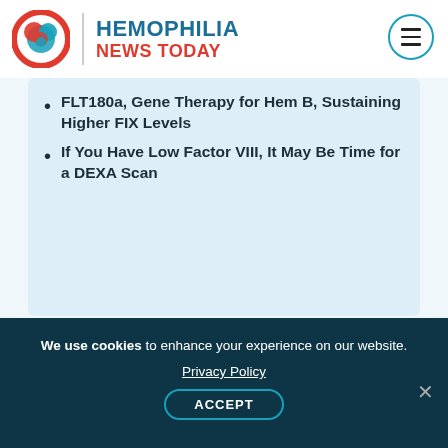[Figure (logo): Hemophilia News Today logo with red/blue spiral graphic, vertical divider, and text 'HEMOPHILIA NEWS TODAY' in blue and red. Hamburger menu icon in teal circle top right.]
FLT180a, Gene Therapy for Hem B, Sustaining Higher FIX Levels
If You Have Low Factor VIII, It May Be Time for a DEXA Scan
Recommended reading
We use cookies to enhance your experience on our website. Privacy Policy ACCEPT